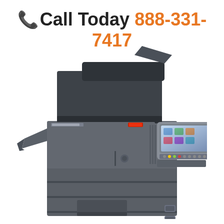Call Today 888-331-7417
[Figure (photo): A large office multifunction copier/printer (Kyocera brand) with document feeder on top, touchscreen control panel, paper output tray on the left side, and multiple paper input trays at the bottom. The machine is dark gray/charcoal colored.]